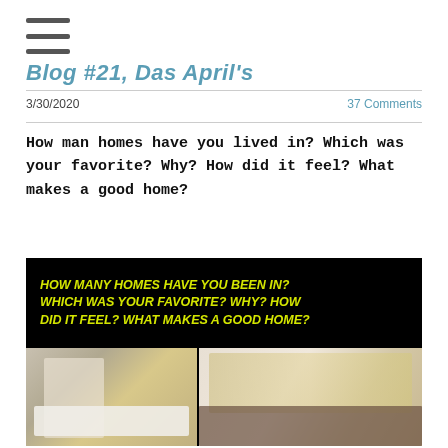[Figure (other): Hamburger/navigation menu icon with three horizontal lines]
Blog #21, Das April's
3/30/2020
37 Comments
How man homes have you lived in? Which was your favorite? Why? How did it feel? What makes a good home?
[Figure (photo): A composite image with a black banner at top containing yellow italic bold text reading: 'How many homes have you been in? Which was your favorite? Why? How did it feel? What makes a good home?' Below are two interior home photos side by side — left shows a minimalist bedroom with concrete ceiling and warm wooden wall panels, right shows a long wooden dining table with modern pendant lamps in a bright room.]